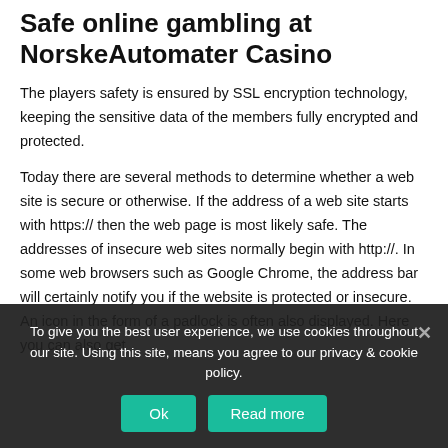Safe online gambling at NorskeAutomater Casino
The players safety is ensured by SSL encryption technology, keeping the sensitive data of the members fully encrypted and protected.
Today there are several methods to determine whether a web site is secure or otherwise. If the address of a web site starts with https:// then the web page is most likely safe. The addresses of insecure web sites normally begin with http://. In some web browsers such as Google Chrome, the address bar will certainly notify you if the website is protected or insecure. An icon in the form of a padlock is often also displayed. Here you can also get
To give you the best user experience, we use cookies throughout our site. Using this site, means you agree to our privacy & cookie policy.